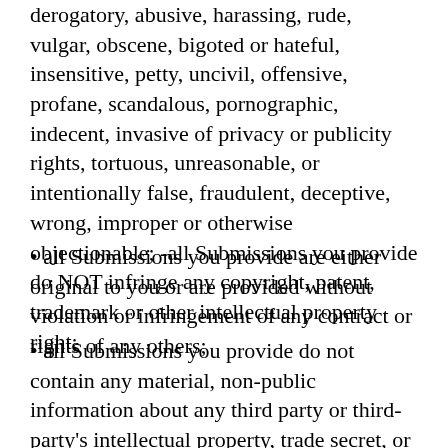derogatory, abusive, harassing, rude, vulgar, obscene, bigoted or hateful, insensitive, petty, uncivil, offensive, profane, scandalous, pornographic, indecent, invasive of privacy or publicity rights, tortuous, unreasonable, or intentionally false, fraudulent, deceptive, wrong, improper or otherwise objectionable; -all Submissions you provide do NOT infringe any copyright, patent, trademark or other intellectual property right;
• all Submissions you provide are either original to you or are provided without violation or infringement of any contract or rights of any others;
• all Submissions you provide do not contain any material, non-public information about any third party or third-party's intellectual property, trade secret, or other rights;
• no other party has any rights to the Submissions you provide or that you have all rights necessary to grant the rights and agree to the provisions of these Terms & Conditions;
• you are solely responsible for the content that...